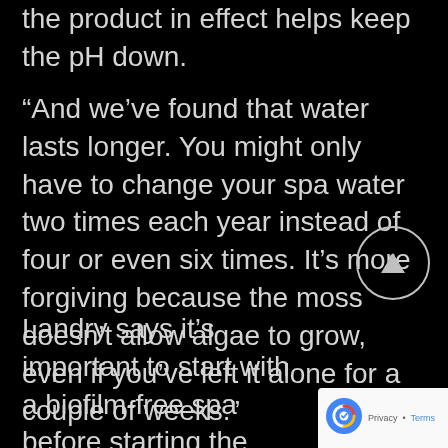the product in effect helps keep the pH down.
“And we’ve found that water lasts longer. You might only have to change your spa water two times each year instead of four or even six times. It’s more forgiving because the moss doesn’t allow algae to grow, even if you’ve left it alone for a couple of weeks.”
Landry says it’s important to start with a biofilm-free spa before starting the moss regimen, so she makes sure the biofilm has been flushed out of the plumbing — even on a brand new spa. And she admits, this takes some work, “but